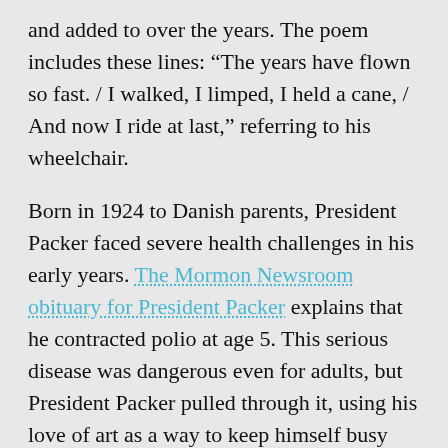and added to over the years. The poem includes these lines: “The years have flown so fast. / I walked, I limped, I held a cane, / And now I ride at last,” referring to his wheelchair.
Born in 1924 to Danish parents, President Packer faced severe health challenges in his early years. The Mormon Newsroom obituary for President Packer explains that he contracted polio at age 5. This serious disease was dangerous even for adults, but President Packer pulled through it, using his love of art as a way to keep himself busy when he was too sick to get out of bed.
For the rest of his life, he pursued his artistic talents, painting and sculpting a variety of animal subjects, particularly birds. A tribute to President Packer’s art and sculptures can be found at BYU’s newly